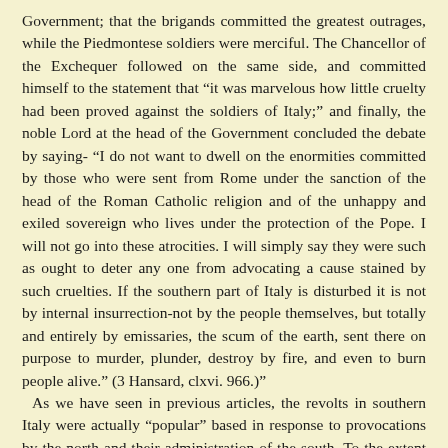Government; that the brigands committed the greatest outrages, while the Piedmontese soldiers were merciful. The Chancellor of the Exchequer followed on the same side, and committed himself to the statement that “it was marvelous how little cruelty had been proved against the soldiers of Italy;” and finally, the noble Lord at the head of the Government concluded the debate by saying- “I do not want to dwell on the enormities committed by those who were sent from Rome under the sanction of the head of the Roman Catholic religion and of the unhappy and exiled sovereign who lives under the protection of the Pope. I will not go into these atrocities. I will simply say they were such as ought to deter any one from advocating a cause stained by such cruelties. If the southern part of Italy is disturbed it is not by internal insurrection-not by the people themselves, but totally and entirely by emissaries, the scum of the earth, sent there on purpose to murder, plunder, destroy by fire, and even to burn people alive.” (3 Hansard, clxvi. 966.)”
As we have seen in previous articles, the revolts in southern Italy were actually “popular” based in response to provocations by the north and their administration of the south. To the extent that there was any linkage to the Bourbon or Papal causes it was after the fact in an attempt to gain support in a cause that was grossly unprepared to carry the fight to the Piedmont troops. Suspension of civil rights, executions, mass imprisonments, rapes and massacres